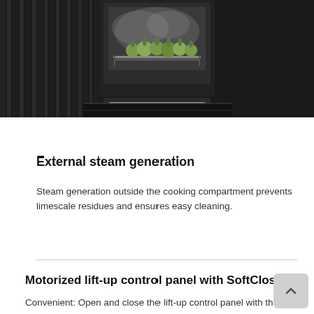[Figure (photo): Photo of a built-in steam oven with door open, showing artichokes or green vegetables inside on a rack, set against a dark ribbed kitchen panel background. The oven has a silver/stainless steel finish.]
External steam generation
Steam generation outside the cooking compartment prevents limescale residues and ensures easy cleaning.
Motorized lift-up control panel with SoftClose
Convenient: Open and close the lift-up control panel with the tap of a finger to access the water container.